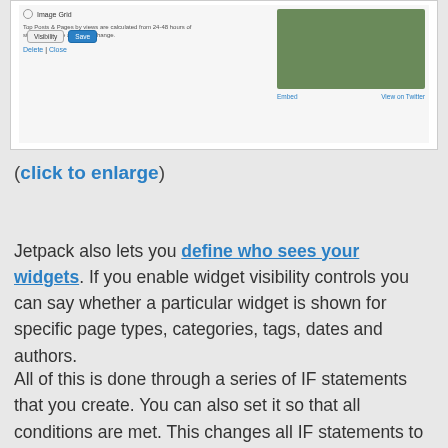[Figure (screenshot): Screenshot of a WordPress widget settings panel showing radio button for Image Grid option, a note about Top Posts & Pages calculated from 24-48 hours of stats, Delete/Close links, Visibility and Save buttons on the left side. On the right side is a Twitter embed widget showing an image of a person and Embed/View on Twitter links.]
(click to enlarge)
Jetpack also lets you define who sees your widgets. If you enable widget visibility controls you can say whether a particular widget is shown for specific page types, categories, tags, dates and authors.
All of this is done through a series of IF statements that you create. You can also set it so that all conditions are met. This changes all IF statements to AND